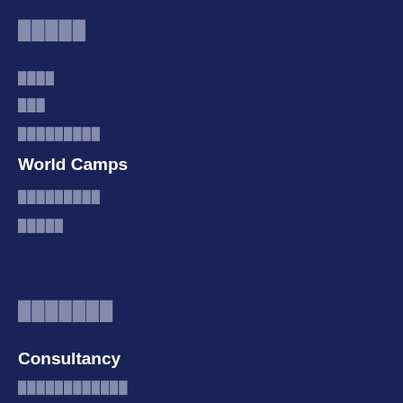█████
████
███
█████████
World Camps
█████████
█████
███████
Consultancy
████████████